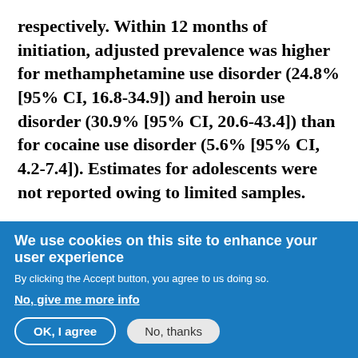respectively. Within 12 months of initiation, adjusted prevalence was higher for methamphetamine use disorder (24.8% [95% CI, 16.8-34.9]) and heroin use disorder (30.9% [95% CI, 20.6-43.4]) than for cocaine use disorder (5.6% [95% CI, 4.2-7.4]). Estimates for adolescents were not reported owing to limited samples.
ᵃPrevalence of lifetime misuse of prescription drugs in 2014 was 9.2% (95% CI,
We use cookies on this site to enhance your user experience
By clicking the Accept button, you agree to us doing so.
No, give me more info
OK, I agree
No, thanks